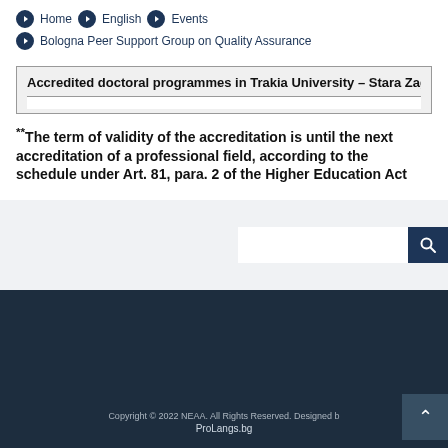Home  English  Events
Bologna Peer Support Group on Quality Assurance
| Accredited doctoral programmes in Trakia University – Stara Zagora |
| --- |
**The term of validity of the accreditation is until the next accreditation of a professional field, according to the schedule under Art. 81, para. 2 of the Higher Education Act
Copyright © 2022 NEAA. All Rights Reserved. Designed by ProLangs.bg